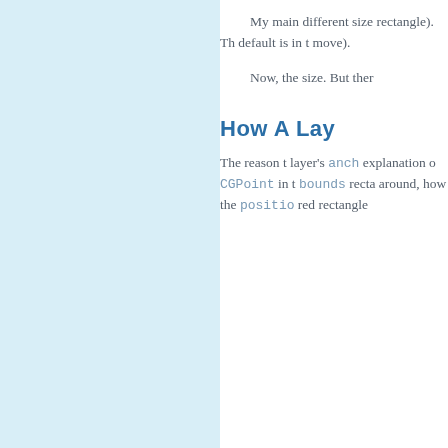My main different size rectangle). Th default is in t move).
Now, the size. But ther
How A Lay
The reason t layer's anchor explanation o CGPoint in t bounds recta around, how the positio red rectangle